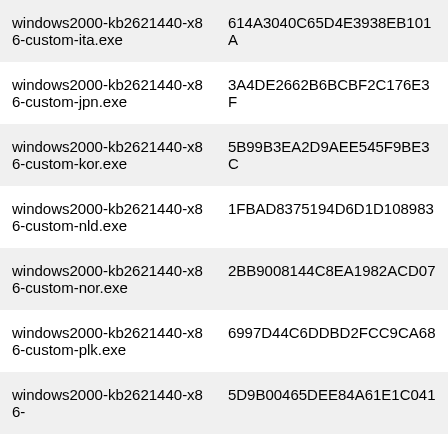| Filename | Hash |
| --- | --- |
| windows2000-kb2621440-x86-custom-ita.exe | 614A3040C65D4E3938EB101A… |
| windows2000-kb2621440-x86-custom-jpn.exe | 3A4DE2662B6BCBF2C176E3F… |
| windows2000-kb2621440-x86-custom-kor.exe | 5B99B3EA2D9AEE545F9BE3C… |
| windows2000-kb2621440-x86-custom-nld.exe | 1FBAD8375194D6D1D108983… |
| windows2000-kb2621440-x86-custom-nor.exe | 2BB9008144C8EA1982ACD07… |
| windows2000-kb2621440-x86-custom-plk.exe | 6997D44C6DDBD2FCC9CA68… |
| windows2000-kb2621440-x86-… | 5D9B00465DEE84A61E1C041… |